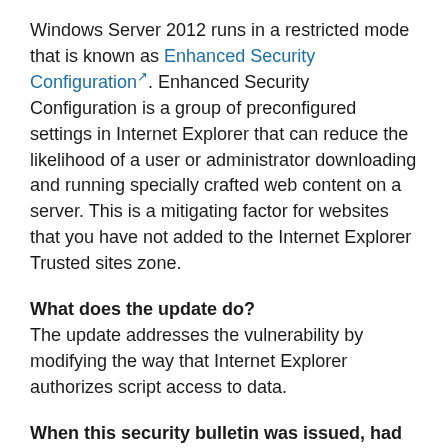Windows Server 2012 runs in a restricted mode that is known as Enhanced Security Configuration. Enhanced Security Configuration is a group of preconfigured settings in Internet Explorer that can reduce the likelihood of a user or administrator downloading and running specially crafted web content on a server. This is a mitigating factor for websites that you have not added to the Internet Explorer Trusted sites zone.
What does the update do?
The update addresses the vulnerability by modifying the way that Internet Explorer authorizes script access to data.
When this security bulletin was issued, had this vulnerability been publicly disclosed?
No. Microsoft received information about this vulnerability through coordinated vulnerability disclosure.
When this security bulletin was issued, had Microsoft